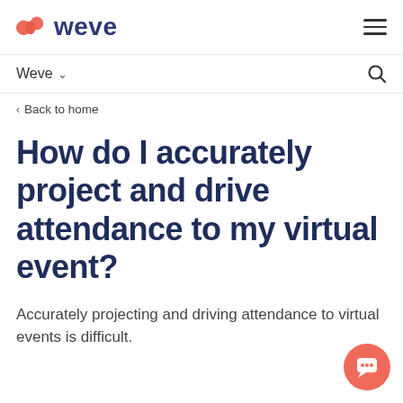Weve (logo) — navigation header with hamburger menu
Weve ∨
< Back to home
How do I accurately project and drive attendance to my virtual event?
Accurately projecting and driving attendance to virtual events is difficult.